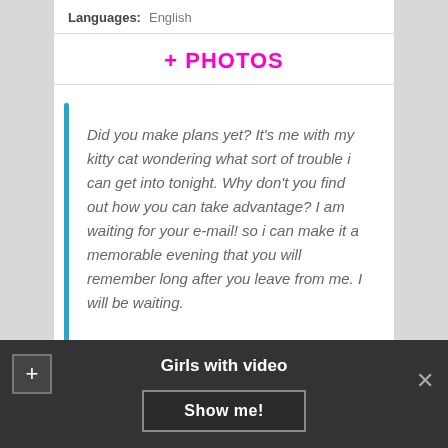Languages: English
+ PHOTOS
Did you make plans yet? It's me with my kitty cat wondering what sort of trouble i can get into tonight. Why don't you find out how you can take advantage? I am waiting for your e-mail! so i can make it a memorable evening that you will remember long after you leave from me. I will be waiting.
Christina
Girls with video  Show me!